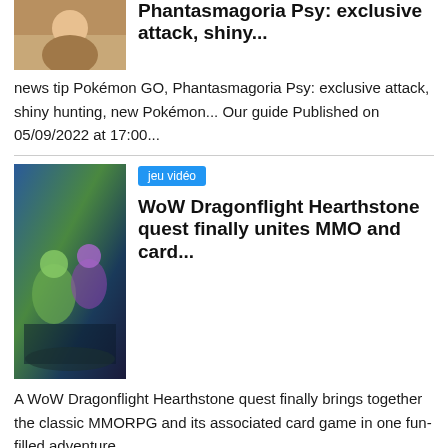[Figure (photo): Thumbnail image for Phantasmagoria Psy Pokemon GO article]
Phantasmagoria Psy: exclusive attack, shiny...
news tip Pokémon GO, Phantasmagoria Psy: exclusive attack, shiny hunting, new Pokémon... Our guide Published on 05/09/2022 at 17:00...
[Figure (photo): WoW Dragonflight Hearthstone game artwork showing characters]
jeu vidéo
WoW Dragonflight Hearthstone quest finally unites MMO and card...
A WoW Dragonflight Hearthstone quest finally brings together the classic MMORPG and its associated card game in one fun-filled adventure...
[Figure (photo): Thumbnail image for third article with person's face]
jeu vidéo